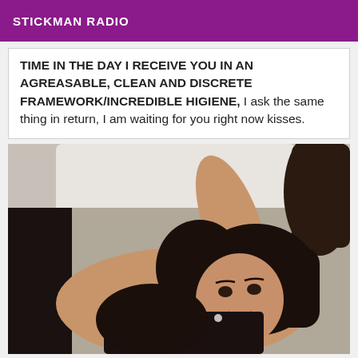STICKMAN RADIO
TIME IN THE DAY I RECEIVE YOU IN AN AGREASABLE, CLEAN AND DISCRETE FRAMEWORK/INCREDIBLE HIGIENE, I ask the same thing in return, I am waiting for you right now kisses.
[Figure (photo): A woman with dark hair reclining on a white sofa, wearing dark clothing, with a furry dark pillow visible on the right side.]